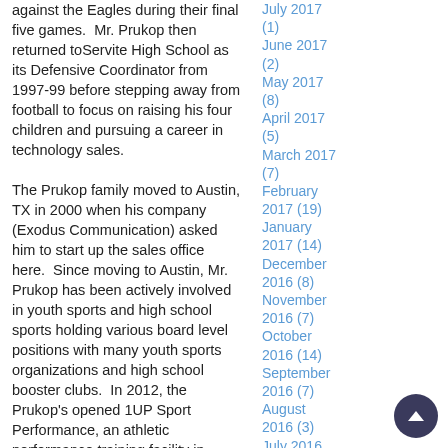against the Eagles during their final five games. Mr. Prukop then returned toServite High School as its Defensive Coordinator from 1997-99 before stepping away from football to focus on raising his four children and pursuing a career in technology sales.

The Prukop family moved to Austin, TX in 2000 when his company (Exodus Communication) asked him to start up the sales office here. Since moving to Austin, Mr. Prukop has been actively involved in youth sports and high school sports holding various board level positions with many youth sports organizations and high school booster clubs. In 2012, the Prukop's opened 1UP Sport Performance, an athletic performance training facility in Cedar Park, TX that
July 2017 (1)
June 2017 (2)
May 2017 (8)
April 2017 (5)
March 2017 (7)
February 2017 (19)
January 2017 (14)
December 2016 (8)
November 2016 (7)
October 2016 (14)
September 2016 (7)
August 2016 (3)
July 2016 (1)
June 2016 (3)
May 2016 (9)
April 2016 (10)
March 2016